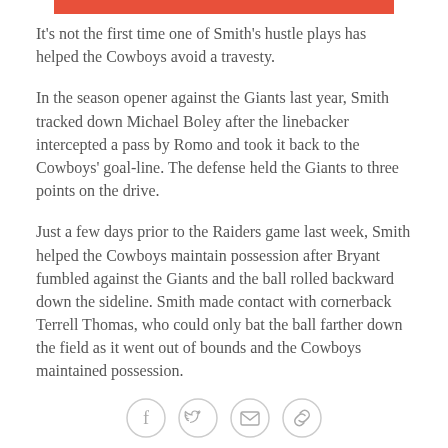[Figure (other): Red decorative horizontal bar at top of page]
It's not the first time one of Smith's hustle plays has helped the Cowboys avoid a travesty.
In the season opener against the Giants last year, Smith tracked down Michael Boley after the linebacker intercepted a pass by Romo and took it back to the Cowboys' goal-line. The defense held the Giants to three points on the drive.
Just a few days prior to the Raiders game last week, Smith helped the Cowboys maintain possession after Bryant fumbled against the Giants and the ball rolled backward down the sideline. Smith made contact with cornerback Terrell Thomas, who could only bat the ball farther down the field as it went out of bounds and the Cowboys maintained possession.
[Figure (other): Social media sharing icons: Facebook, Twitter, Email, Link]